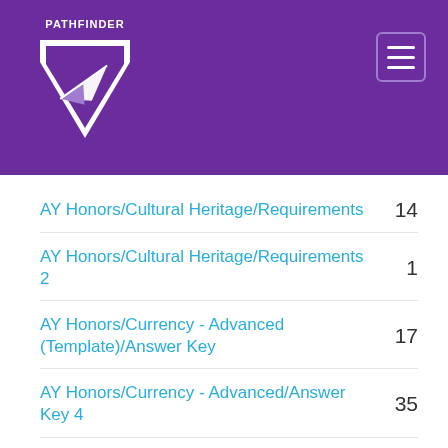PATHFINDER
AY Honors/Cultural Heritage/Requirements	14
AY Honors/Cultural Heritage/Requirements 2	1
AY Honors/Currency - Advanced (Template)/Answer Key	17
AY Honors/Currency - Advanced/Answer Key 4	35
AY Honors/Currency/Answer Key	2
AY Honors/Cycling - Advanced/Answer Key	86